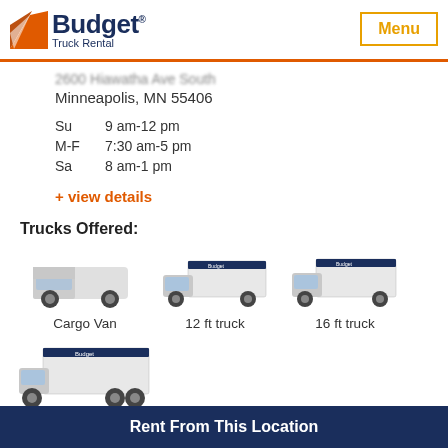[Figure (logo): Budget Truck Rental logo with orange triangle icon and dark blue text]
Menu
Minneapolis, MN 55406
Su   9 am-12 pm
M-F   7:30 am-5 pm
Sa   8 am-1 pm
+ view details
Trucks Offered:
[Figure (photo): Cargo Van truck image]
Cargo Van
[Figure (photo): 12 ft truck image]
12 ft truck
[Figure (photo): 16 ft truck image]
16 ft truck
[Figure (photo): 26 ft truck image]
26 ft truck
Rent From This Location